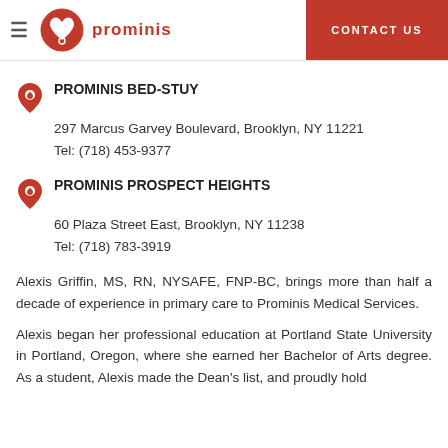prominis | CONTACT US
PROMINIS BED-STUY
297 Marcus Garvey Boulevard, Brooklyn, NY 11221
Tel: (718) 453-9377
PROMINIS PROSPECT HEIGHTS
60 Plaza Street East, Brooklyn, NY 11238
Tel: (718) 783-3919
Alexis Griffin, MS, RN, NYSAFE, FNP-BC, brings more than half a decade of experience in primary care to Prominis Medical Services.
Alexis began her professional education at Portland State University in Portland, Oregon, where she earned her Bachelor of Arts degree. As a student, Alexis made the Dean's list, and proudly hold